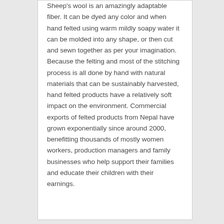Sheep's wool is an amazingly adaptable fiber. It can be dyed any color and when hand felted using warm mildly soapy water it can be molded into any shape, or then cut and sewn together as per your imagination. Because the felting and most of the stitching process is all done by hand with natural materials that can be sustainably harvested, hand felted products have a relatively soft impact on the environment. Commercial exports of felted products from Nepal have grown exponentially since around 2000, benefitting thousands of mostly women workers, production managers and family businesses who help support their families and educate their children with their earnings.